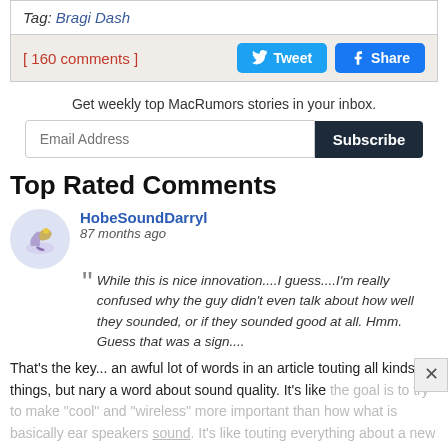Tag: Bragi Dash
[ 160 comments ]
Get weekly top MacRumors stories in your inbox.
Top Rated Comments
HobeSoundDarryl
87 months ago
While this is nice innovation....I guess....I'm really confused why the guy didn't even talk about how well they sounded, or if they sounded good at all. Hmm. Guess that was a sign....
That's the key... an awful lot of words in an article touting all kinds of things, but nary a word about sound quality. It's like the goal is to try to make "cool" and "wireless" more important than how what is basically ear speakers sound. It's like touting everything about a new TV except the picture, and yet that…